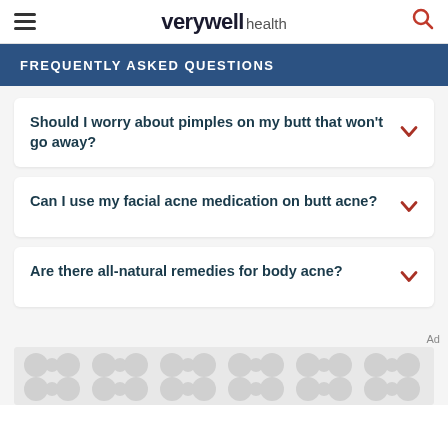verywell health
FREQUENTLY ASKED QUESTIONS
Should I worry about pimples on my butt that won't go away?
Can I use my facial acne medication on butt acne?
Are there all-natural remedies for body acne?
[Figure (other): Advertisement banner placeholder with repeating circular dot pattern in light gray]